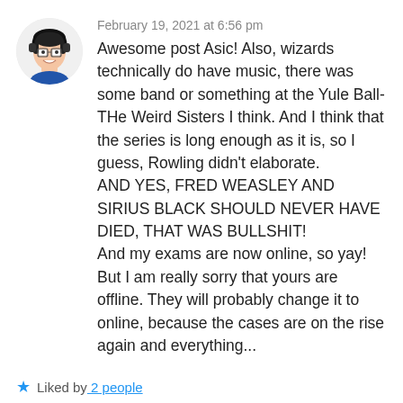[Figure (illustration): Cartoon avatar of a girl with dark hair, glasses, and headphones wearing a blue top]
February 19, 2021 at 6:56 pm
Awesome post Asic! Also, wizards technically do have music, there was some band or something at the Yule Ball- THe Weird Sisters I think. And I think that the series is long enough as it is, so I guess, Rowling didn't elaborate.
AND YES, FRED WEASLEY AND SIRIUS BLACK SHOULD NEVER HAVE DIED, THAT WAS BULLSHIT!
And my exams are now online, so yay! But I am really sorry that yours are offline. They will probably change it to online, because the cases are on the rise again and everything...
Liked by 2 people
Reply